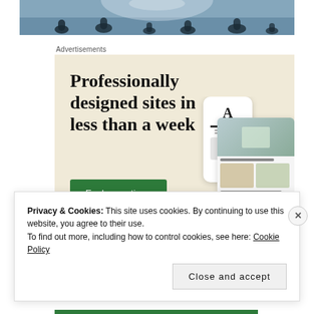[Figure (photo): Photo strip at top showing people silhouetted in water, backlit by sunlight]
Advertisements
[Figure (screenshot): Advertisement banner with cream/beige background. Large serif text reads 'Professionally designed sites in less than a week' with a green 'Explore options' button and mock website/app screenshots on the right side.]
Privacy & Cookies: This site uses cookies. By continuing to use this website, you agree to their use.
To find out more, including how to control cookies, see here: Cookie Policy
Close and accept